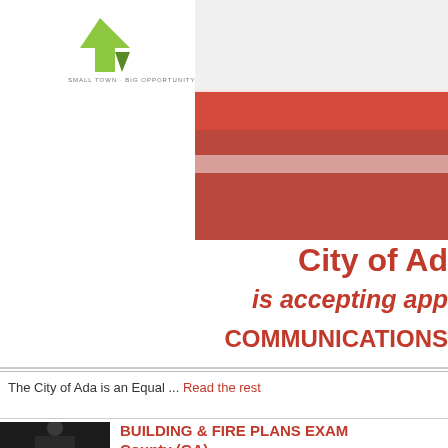[Figure (photo): City of Ada logo with green arrow shapes and tagline 'Small Town Big Opportunity' on white background, with a blurred red fire truck or emergency vehicle photo to the right]
City of Ad...
is accepting app...
COMMUNICATIONS...
The City of Ada is an Equal ... Read the rest
[Figure (photo): Photo of a uniformed fire or police official in black uniform with cap, standing in front of an American flag]
BUILDING & FIRE PLANS EXAM... County (GA)